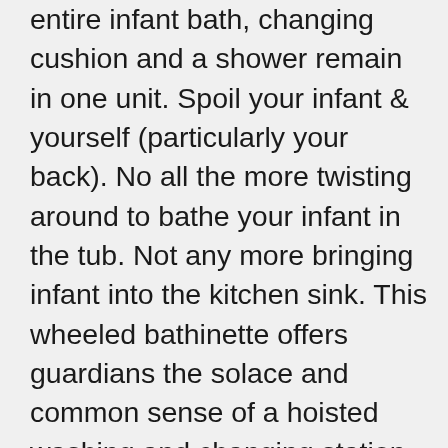entire infant bath, changing cushion and a shower remain in one unit. Spoil your infant & yourself (particularly your back). No all the more twisting around to bathe your infant in the tub. Not any more bringing infant into the kitchen sink. This wheeled bathinette offers guardians the solace and common sense of a hoisted washing and changing station that can be utilized anyplace in your home. It is intended for babies from infant to year and a half (up to 30 pounds). The EuroSpa's child shower is composed with 2 positions to serenely enable a newborn child to lean back or a little child to sit up while washing. A formed child plug shaped into shower positions the infant in the shower. Essentially fill the shower with a container or water sprayer. A long deplete tube enables the shower to be effectively depleted without lifting the shower. The majority of your washing supplies are